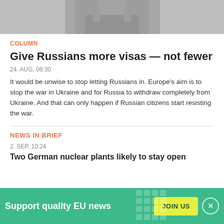[Figure (photo): Black and white photo of a person, cropped at the torso]
COLUMN
Give Russians more visas — not fewer
24. AUG, 08:30
It would be unwise to stop letting Russians in. Europe's aim is to stop the war in Ukraine and for Russia to withdraw completely from Ukraine. And that can only happen if Russian citizens start resisting the war.
NEWS IN BRIEF
2. SEP, 10:24
Two German nuclear plants likely to stay open
Support quality EU news  JOIN US